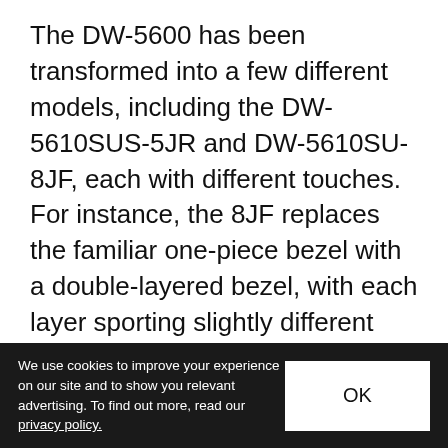The DW-5600 has been transformed into a few different models, including the DW-5610SUS-5JR and DW-5610SU-8JF, each with different touches. For instance, the 8JF replaces the familiar one-piece bezel with a double-layered bezel, with each layer sporting slightly different hues. Various GA-2100 watches have also been upgraded with subtle tweaks, like the GA-2100SU-1AJF (camouflage bezel) and GA-2110SU-3AJF (dual-layer bezel, slimmed-down case and design). Further still, the DW-5610SUS-5JR boasts a camouflage bezel and a replacement urethane band, allowing the wearer to
We use cookies to improve your experience on our site and to show you relevant advertising. To find out more, read our privacy policy.